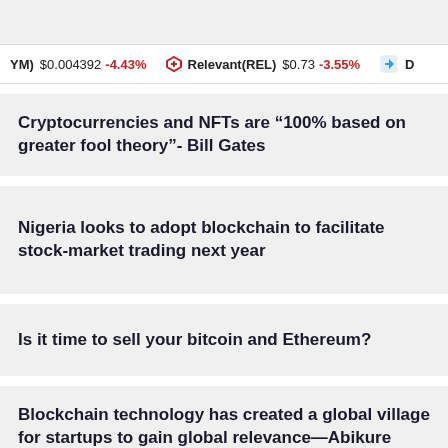Cryptocurrencies and NFTs are "100% based on greater fool theory"- Bill Gates
YM) $0.004392 -4.43%   Relevant(REL) $0.73 -3.55%   D
Cryptocurrencies and NFTs are “100% based on greater fool theory”- Bill Gates
Nigeria looks to adopt blockchain to facilitate stock-market trading next year
Is it time to sell your bitcoin and Ethereum?
Blockchain technology has created a global village for startups to gain global relevance—Abikure Tega, Founder & Team Lead, Kumo Wallet